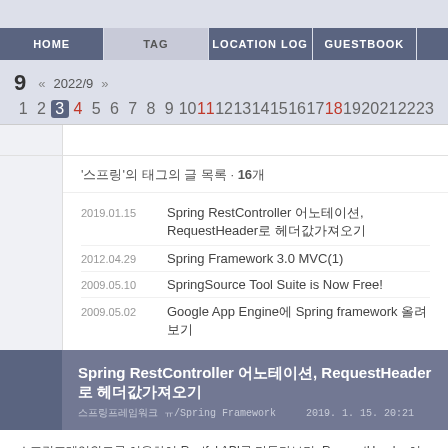HOME | TAG | LOCATION LOG | GUESTBOOK
9  «  2022/9  »
1 2 3 4 5 6 7 8 9 10 11 12 13 14 15 16 17 18 19 20 21 22 23
'스프링' 태그의 글 목록 16개
2019.01.15  Spring RestController 어노테이션, RequestHeader로 헤더값가져오기
2012.04.29  Spring Framework 3.0 MVC(1)
2009.05.10  SpringSource Tool Suite is Now Free!
2009.05.02  Google App Engine에 Spring framework 올려 보기
Spring RestController 어노테이션, RequestHeader로 헤더값가져오기
스프링프레임워크 ㅠ/Spring Framework    2019. 1. 15. 20:21
스프링프레임워크를 이용하여 Restful API를 만들다보면, RequestHeader 어노테이션을 통해 해더값을 얻어야 할때가.